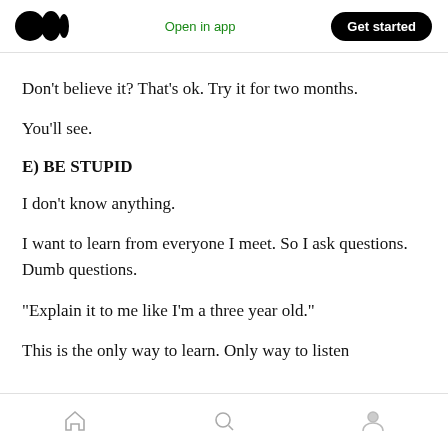Medium logo | Open in app | Get started
Don’t believe it? That’s ok. Try it for two months.
You’ll see.
E) BE STUPID
I don’t know anything.
I want to learn from everyone I meet. So I ask questions. Dumb questions.
“Explain it to me like I’m a three year old.”
This is the only way to learn. Only way to listen
Home | Search | Profile